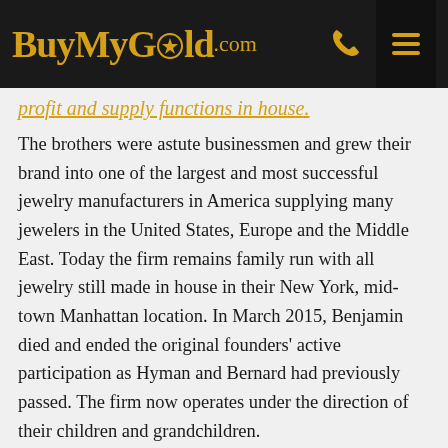BuyMyGold.com
profit and supply functions in house.
The brothers were astute businessmen and grew their brand into one of the largest and most successful jewelry manufacturers in America supplying many jewelers in the United States, Europe and the Middle East. Today the firm remains family run with all jewelry still made in house in their New York, mid-town Manhattan location. In March 2015, Benjamin died and ended the original founders’ active participation as Hyman and Bernard had previously passed. The firm now operates under the direction of their children and grandchildren.
Through several subsequent generations the Hammerman family has served clients who seek crafted and designed jewelry. The business has also been the ‘go-to’ jeweler for